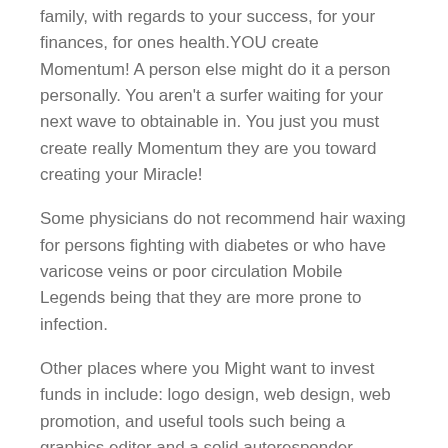family, with regards to your success, for your finances, for ones health.YOU create Momentum! A person else might do it a person personally. You aren't a surfer waiting for your next wave to obtainable in. You just you must create really Momentum they are you toward creating your Miracle!
Some physicians do not recommend hair waxing for persons fighting with diabetes or who have varicose veins or poor circulation Mobile Legends being that they are more prone to infection.
Other places where you Might want to invest funds in include: logo design, web design, web promotion, and useful tools such being a graphics editor and a solid autoresponder. However, there are many free resources on the web and I encourage of which you seek them out.
Waxing tweezing and waxing methods is fast and inexpensive. Some men and women differ in the overall results, but to...